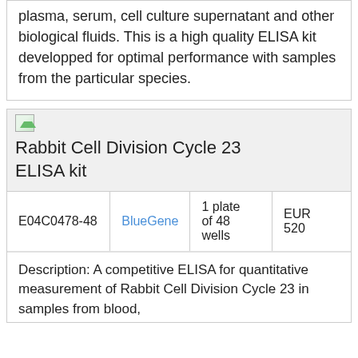plasma, serum, cell culture supernatant and other biological fluids. This is a high quality ELISA kit developped for optimal performance with samples from the particular species.
Rabbit Cell Division Cycle 23 ELISA kit
|  |  | 1 plate of 48 wells | EUR 520 |
| --- | --- | --- | --- |
| E04C0478-48 | BlueGene | 1 plate of 48 wells | EUR 520 |
Description: A competitive ELISA for quantitative measurement of Rabbit Cell Division Cycle 23 in samples from blood,